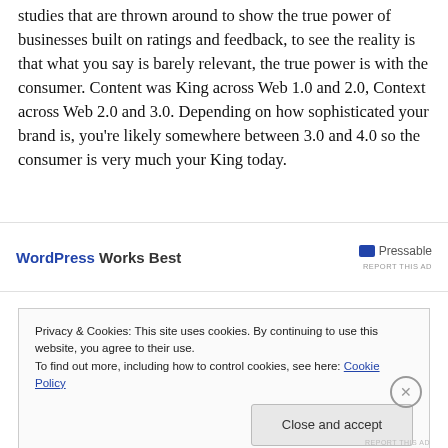studies that are thrown around to show the true power of businesses built on ratings and feedback, to see the reality is that what you say is barely relevant, the true power is with the consumer. Content was King across Web 1.0 and 2.0, Context across Web 2.0 and 3.0. Depending on how sophisticated your brand is, you're likely somewhere between 3.0 and 4.0 so the consumer is very much your King today.
[Figure (other): WordPress Works Best ad banner with Pressable logo and REPORT THIS AD label]
Privacy & Cookies: This site uses cookies. By continuing to use this website, you agree to their use.
To find out more, including how to control cookies, see here: Cookie Policy
[Close and accept button]